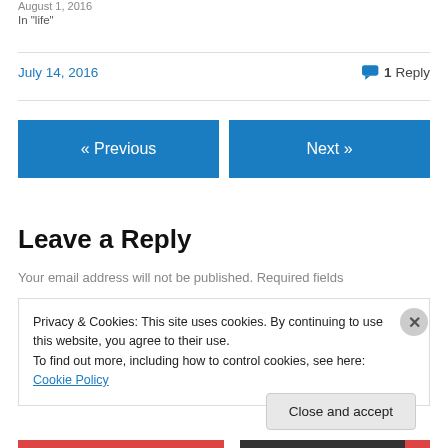August 1, 2016
In "life"
July 14, 2016
1 Reply
« Previous
Next »
Leave a Reply
Your email address will not be published. Required fields
Privacy & Cookies: This site uses cookies. By continuing to use this website, you agree to their use.
To find out more, including how to control cookies, see here: Cookie Policy
Close and accept